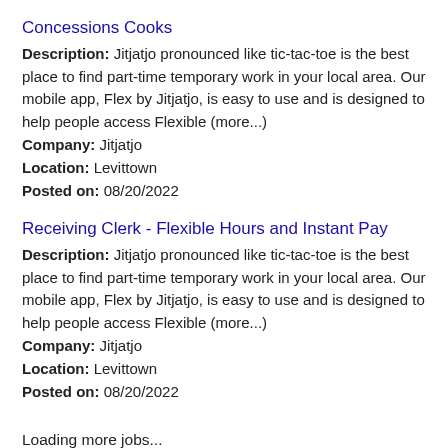Concessions Cooks
Description: Jitjatjo pronounced like tic-tac-toe is the best place to find part-time temporary work in your local area. Our mobile app, Flex by Jitjatjo, is easy to use and is designed to help people access Flexible (more...)
Company: Jitjatjo
Location: Levittown
Posted on: 08/20/2022
Receiving Clerk - Flexible Hours and Instant Pay
Description: Jitjatjo pronounced like tic-tac-toe is the best place to find part-time temporary work in your local area. Our mobile app, Flex by Jitjatjo, is easy to use and is designed to help people access Flexible (more...)
Company: Jitjatjo
Location: Levittown
Posted on: 08/20/2022
Loading more jobs...
Log In or Create An Account